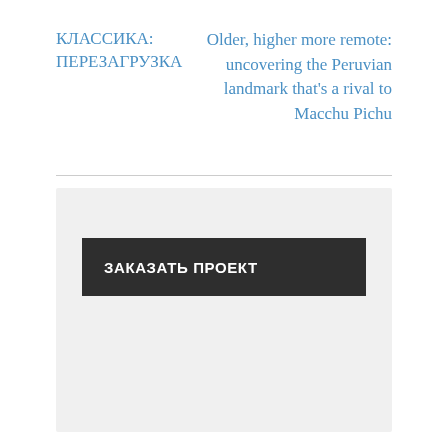КЛАССИКА: ПЕРЕЗАГРУЗКА
Older, higher more remote: uncovering the Peruvian landmark that's a rival to Macchu Pichu
[Figure (other): Light gray rectangular content area with a dark charcoal button labeled ЗАКАЗАТЬ ПРОЕКТ]
ЗАКАЗАТЬ ПРОЕКТ